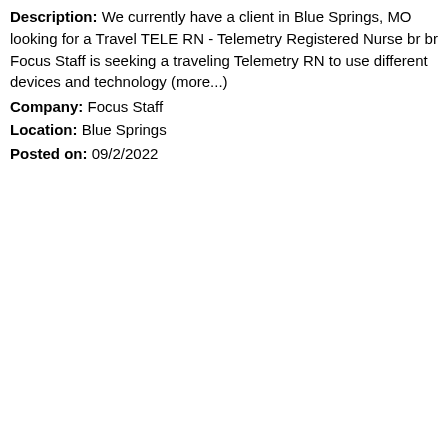Description: We currently have a client in Blue Springs, MO looking for a Travel TELE RN - Telemetry Registered Nurse br br Focus Staff is seeking a traveling Telemetry RN to use different devices and technology (more...)
Company: Focus Staff
Location: Blue Springs
Posted on: 09/2/2022